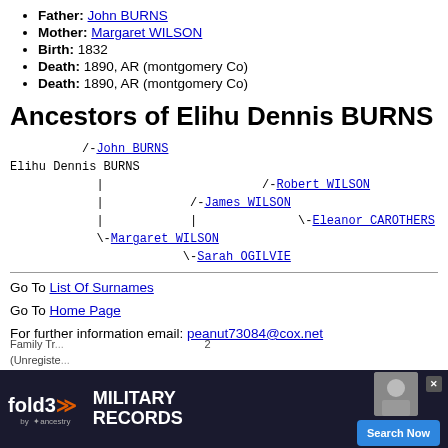Father: John BURNS
Mother: Margaret WILSON
Birth: 1832
Death: 1890, AR (montgomery Co)
Death: 1890, AR (montgomery Co)
Ancestors of Elihu Dennis BURNS
[Figure (other): Genealogical ancestor tree in monospace showing Elihu Dennis BURNS with ancestors: John BURNS (father), Robert WILSON, James WILSON, Eleanor CAROTHERS, Margaret WILSON (mother), Sarah OGILVIE]
Go To List Of Surnames
Go To Home Page
For further information email: peanut73084@cox.net
Family Tr... (Unregiste...